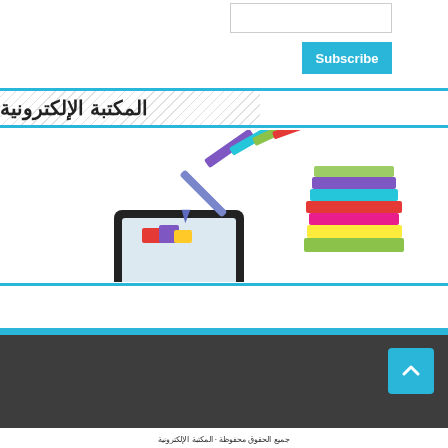[Figure (screenshot): Input box (form field) at top right of page]
Subscribe
المكتبة الإلكترونية
[Figure (illustration): Illustration of a tablet with colorful books and a stack of multicolored books beside it, representing an electronic library]
Arabic footer text at bottom of dark footer section